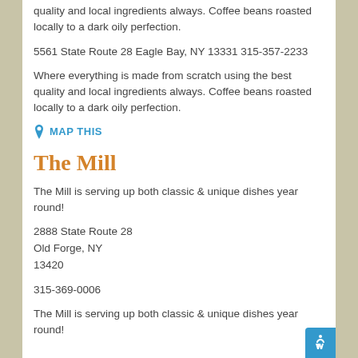quality and local ingredients always. Coffee beans roasted locally to a dark oily perfection.
5561 State Route 28 Eagle Bay, NY 13331 315-357-2233
Where everything is made from scratch using the best quality and local ingredients always. Coffee beans roasted locally to a dark oily perfection.
MAP THIS
The Mill
The Mill is serving up both classic & unique dishes year round!
2888 State Route 28
Old Forge, NY
13420
315-369-0006
The Mill is serving up both classic & unique dishes year round!